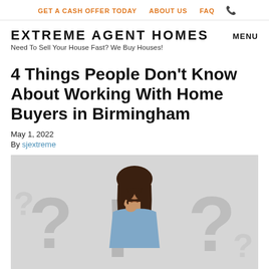GET A CASH OFFER TODAY   ABOUT US   FAQ   📞
EXTREME AGENT HOMES
Need To Sell Your House Fast? We Buy Houses!
MENU
4 Things People Don't Know About Working With Home Buyers in Birmingham
May 1, 2022
By sjextreme
[Figure (photo): A woman with a thoughtful expression touching her chin, surrounded by large grey question marks on a light background]